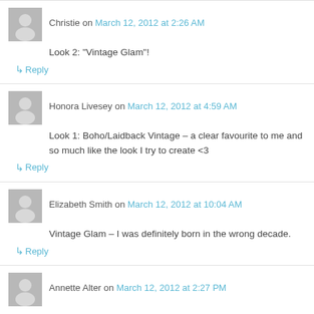Christie on March 12, 2012 at 2:26 AM
Look 2: "Vintage Glam"!
↳ Reply
Honora Livesey on March 12, 2012 at 4:59 AM
Look 1: Boho/Laidback Vintage – a clear favourite to me and so much like the look I try to create <3
↳ Reply
Elizabeth Smith on March 12, 2012 at 10:04 AM
Vintage Glam – I was definitely born in the wrong decade.
↳ Reply
Annette Alter on March 12, 2012 at 2:27 PM
Look 3: Edgy/Rock Chick Vintage
↳ Reply